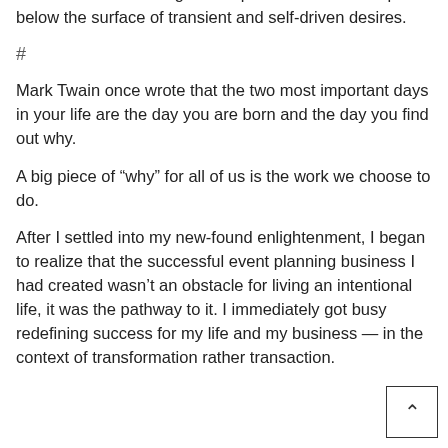a life rich with meaning that requires us to dive deep below the surface of transient and self-driven desires.
#
Mark Twain once wrote that the two most important days in your life are the day you are born and the day you find out why.
A big piece of “why” for all of us is the work we choose to do.
After I settled into my new-found enlightenment, I began to realize that the successful event planning business I had created wasn’t an obstacle for living an intentional life, it was the pathway to it. I immediately got busy redefining success for my life and my business — in the context of transformation rather transaction.